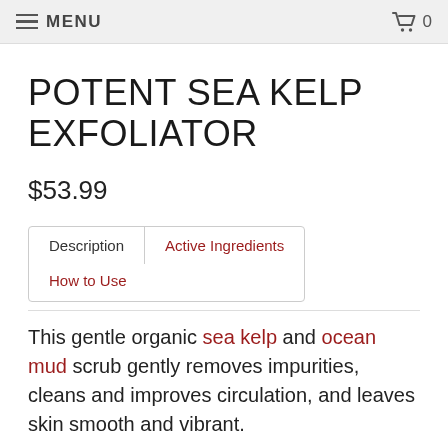MENU  0
POTENT SEA KELP EXFOLIATOR
$53.99
Description   Active Ingredients   How to Use
This gentle organic sea kelp and ocean mud scrub gently removes impurities, cleans and improves circulation, and leaves skin smooth and vibrant.